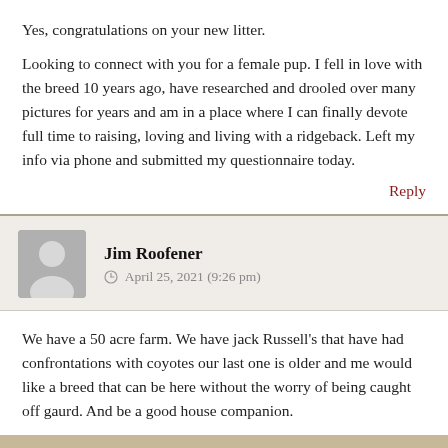Yes, congratulations on your new litter.
Looking to connect with you for a female pup. I fell in love with the breed 10 years ago, have researched and drooled over many pictures for years and am in a place where I can finally devote full time to raising, loving and living with a ridgeback. Left my info via phone and submitted my questionnaire today.
Reply
Jim Roofener
April 25, 2021 (9:26 pm)
We have a 50 acre farm. We have jack Russell's that have had confrontations with coyotes our last one is older and me would like a breed that can be here without the worry of being caught off gaurd. And be a good house companion.